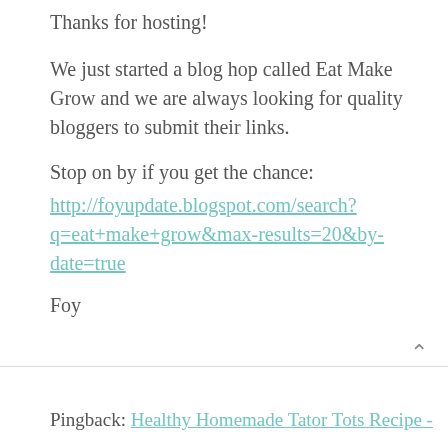Thanks for hosting!
We just started a blog hop called Eat Make Grow and we are always looking for quality bloggers to submit their links.
Stop on by if you get the chance:
http://foyupdate.blogspot.com/search?q=eat+make+grow&max-results=20&by-date=true
Foy
Pingback: Healthy Homemade Tator Tots Recipe -